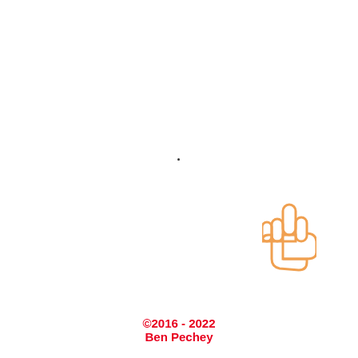[Figure (illustration): A pointing hand icon drawn in orange outline style, pointing upward with index finger extended, located in the lower-right area of the page.]
©2016 - 2022
Ben Pechey